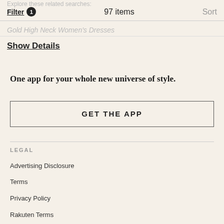Explore these related searches:
Filter 1   97 items   Sort
Gold High Neck Women's Dresses
Show Details
One app for your whole new universe of style.
GET THE APP
LEGAL
Advertising Disclosure
Terms
Privacy Policy
Rakuten Terms